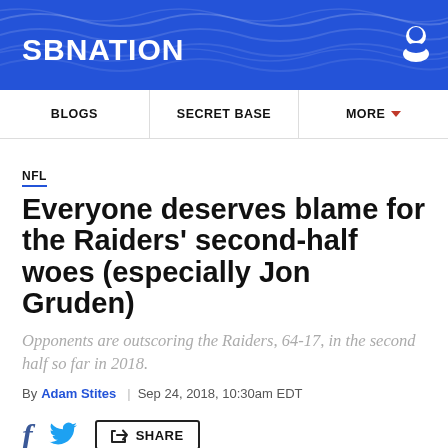[Figure (logo): SBNation website header with blue background and wave pattern, white SBNation logo text, user icon top right]
BLOGS | SECRET BASE | MORE
NFL
Everyone deserves blame for the Raiders' second-half woes (especially Jon Gruden)
Opponents are outscoring the Raiders, 64-17, in the second half so far in 2018.
By Adam Stites | Sep 24, 2018, 10:30am EDT
f  [twitter]  SHARE